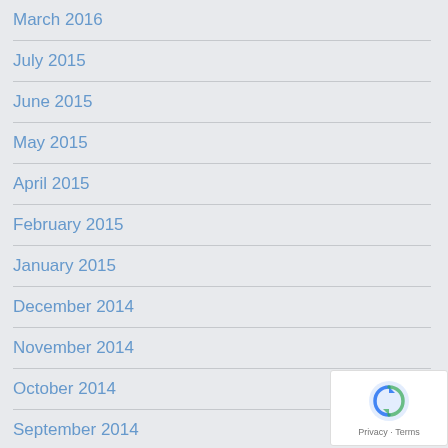March 2016
July 2015
June 2015
May 2015
April 2015
February 2015
January 2015
December 2014
November 2014
October 2014
September 2014
August 2014
May 2014
April 2014